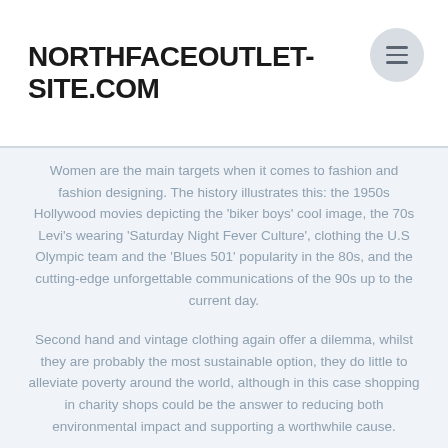NORTHFACEOUTLET-SITE.COM
Women are the main targets when it comes to fashion and fashion designing. The history illustrates this: the 1950s Hollywood movies depicting the ‘biker boys’ cool image, the 70s Levi’s wearing ‘Saturday Night Fever Culture’, clothing the U.S Olympic team and the ‘Blues 501’ popularity in the 80s, and the cutting-edge unforgettable communications of the 90s up to the current day.
Second hand and vintage clothing again offer a dilemma, whilst they are probably the most sustainable option, they do little to alleviate poverty around the world, although in this case shopping in charity shops could be the answer to reducing both environmental impact and supporting a worthwhile cause.
Other popular clothing brands that are driven towards the teenagers and ... Read More.. »